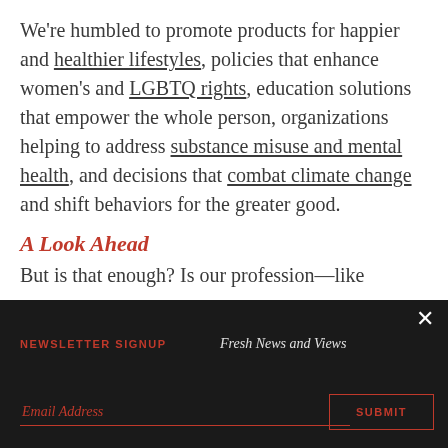We're humbled to promote products for happier and healthier lifestyles, policies that enhance women's and LGBTQ rights, education solutions that empower the whole person, organizations helping to address substance misuse and mental health, and decisions that combat climate change and shift behaviors for the greater good.
A Look Ahead
But is that enough? Is our profession—like
NEWSLETTER SIGNUP   Fresh News and Views   Email Address   SUBMIT